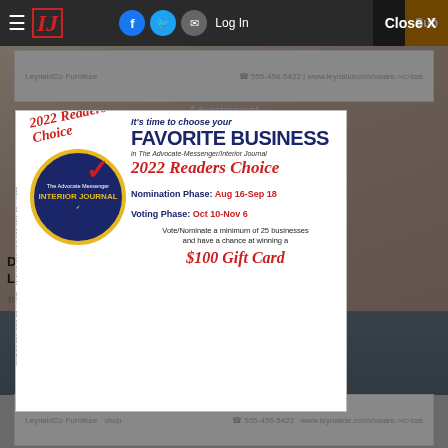IJ — Interior Journal navigation bar with hamburger menu, logo, social icons (Facebook, Twitter, Email), Log In, Subscribe
Advertisment
[Figure (illustration): 2022 Readers Choice promotional modal popup for The Advocate-Messenger/Interior Journal. Features a circular badge with state map, '2022 Readers Choice' red italic text, 'It’s time to choose your FAVORITE BUSINESS in The Advocate-Messenger/Interior Journal 2022 Readers Choice'. Nomination Phase: Aug 16-Sep 18, Voting Phase: Oct 10-Nov 6. Vote/Nominate a minimum of 25 businesses and have a chance at winning a $100 Gift Card.]
Nomination Phase: Aug 16-Sep 18 | Voting Phase: Oct 10-Nov 6 | Vote/Nominate a minimum of 25 businesses and have a chance at winning a $100 Gift Card
Docto... bags Like C...
Trending Now...
Close X